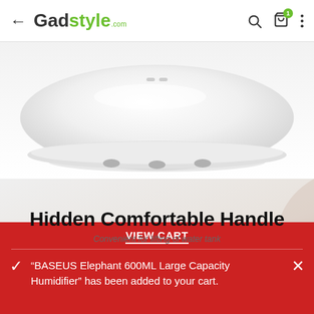← Gadstyle.com
[Figure (photo): White rounded humidifier device viewed from the side/top, showing smooth white casing with rubber feet on a light gray background]
[Figure (photo): Product feature image with light gray/beige gradient background showing text: 'Hidden Comfortable Handle' and subtitle 'Convenient for lifting of water tank']
VIEW CART
"BASEUS Elephant 600ML Large Capacity Humidifier" has been added to your cart.